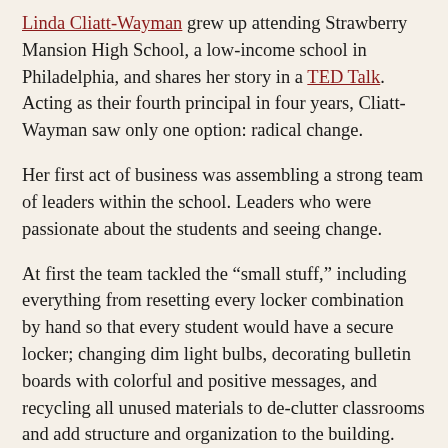Linda Cliatt-Wayman grew up attending Strawberry Mansion High School, a low-income school in Philadelphia, and shares her story in a TED Talk. Acting as their fourth principal in four years, Cliatt-Wayman saw only one option: radical change.
Her first act of business was assembling a strong team of leaders within the school. Leaders who were passionate about the students and seeing change.
At first the team tackled the “small stuff,” including everything from resetting every locker combination by hand so that every student would have a secure locker; changing dim light bulbs, decorating bulletin boards with colorful and positive messages, and recycling all unused materials to de-clutter classrooms and add structure and organization to the building.
Cliatt-Wayman and her team tackled the big things too, like assessing the school budget and relocating funds to hire more teachers and support staff; restricting the school day schedule to add remediation, honors courses, extracurricular activities and counseling throughout the day; creating a development plan to know where every support person and police officer would be throughout the day and during transitions and providing